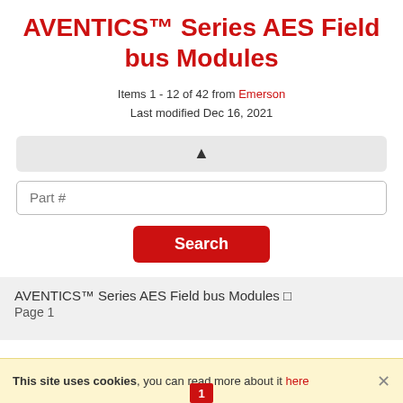AVENTICS™ Series AES Field bus Modules
Items 1 - 12 of 42 from Emerson
Last modified Dec 16, 2021
[Figure (other): Gray collapsed filter bar with upward triangle arrow]
Part #
Search
AVENTICS™ Series AES Field bus Modules 🔲
Page 1
This site uses cookies, you can read more about it here
1